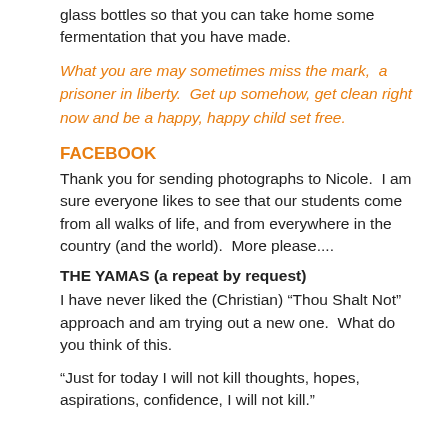glass bottles so that you can take home some fermentation that you have made.
What you are may sometimes miss the mark,  a prisoner in liberty.  Get up somehow, get clean right now and be a happy, happy child set free.
FACEBOOK
Thank you for sending photographs to Nicole.  I am sure everyone likes to see that our students come from all walks of life, and from everywhere in the country (and the world).  More please....
THE YAMAS (a repeat by request)
I have never liked the (Christian) “Thou Shalt Not” approach and am trying out a new one.  What do you think of this.
“Just for today I will not kill thoughts, hopes, aspirations, confidence, I will not kill.”